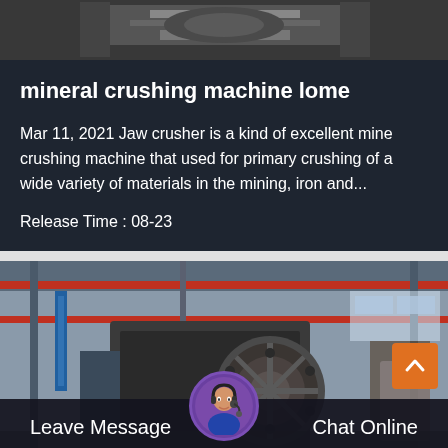[Figure (photo): Top partial image of industrial crushing machine, dark metallic tones]
mineral crushing machine lome
Mar 11, 2021 Jaw crusher is a kind of excellent mine crushing machine that used for primary crushing of a wide variety of materials in the mining, iron and...
Release Time : 08-23
[Figure (photo): Factory interior showing large industrial jaw crusher machine with red overhead crane beams and industrial hall]
Leave Message   Chat Online